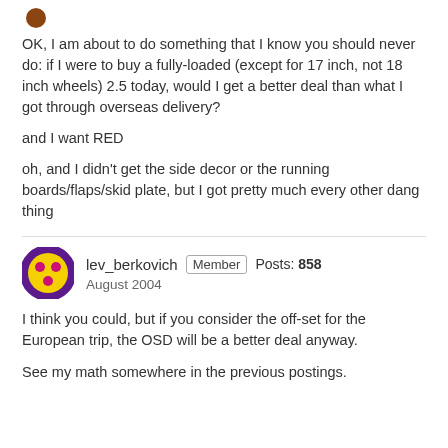OK, I am about to do something that I know you should never do: if I were to buy a fully-loaded (except for 17 inch, not 18 inch wheels) 2.5 today, would I get a better deal than what I got through overseas delivery?
and I want RED
oh, and I didn't get the side decor or the running boards/flaps/skid plate, but I got pretty much every other dang thing
lev_berkovich  Member  Posts: 858  August 2004
I think you could, but if you consider the off-set for the European trip, the OSD will be a better deal anyway.
See my math somewhere in the previous postings.